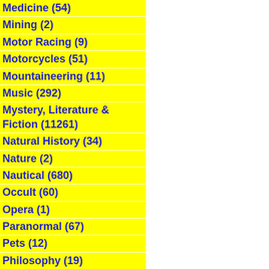Medicine (54)
Mining (2)
Motor Racing (9)
Motorcycles (51)
Mountaineering (11)
Music (292)
Mystery, Literature & Fiction (11261)
Natural History (34)
Nature (2)
Nautical (680)
Occult (60)
Opera (1)
Paranormal (67)
Pets (12)
Philosophy (19)
Photography (4)
Play (1)
Plays (1)
Poems (1)
Poetry (53)
Poker (1)
Polar Exploration (1)
Politics (30)